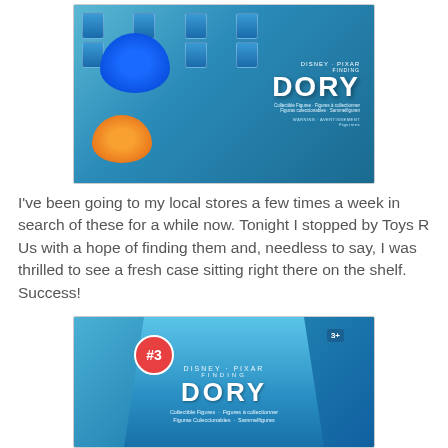[Figure (photo): Photo of Finding Dory collectible figures display case box at a store shelf, showing multiple blind bags in a blue branded box with Dory and Nemo characters on it.]
I've been going to my local stores a few times a week in search of these for a while now. Tonight I stopped by Toys R Us with a hope of finding them and, needless to say, I was thrilled to see a fresh case sitting right there on the shelf. Success!
[Figure (photo): Photo of Finding Dory collectible figures blind bag packaging up close, showing blue bag with #3 badge, Disney Pixar Finding Dory logo, and 'Collectible Figures' text in multiple languages. Age rating 3+ visible.]